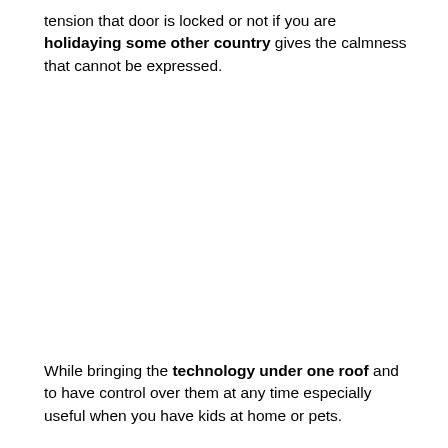tension that door is locked or not if you are holidaying some other country gives the calmness that cannot be expressed.
While bringing the technology under one roof and to have control over them at any time especially useful when you have kids at home or pets.